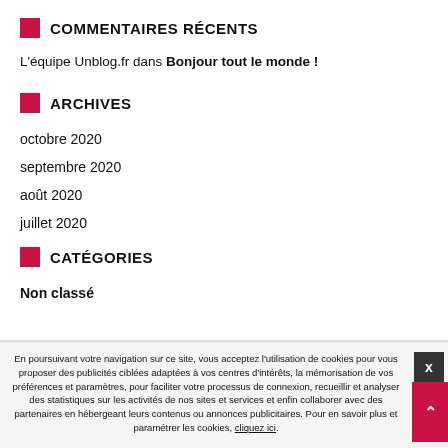COMMENTAIRES RÉCENTS
L'équipe Unblog.fr dans Bonjour tout le monde !
ARCHIVES
octobre 2020
septembre 2020
août 2020
juillet 2020
CATÉGORIES
Non classé
En poursuivant votre navigation sur ce site, vous acceptez l'utilisation de cookies pour vous proposer des publicités ciblées adaptées à vos centres d'intérêts, la mémorisation de vos préférences et paramètres, pour faciliter votre processus de connexion, recueillir et analyser des statistiques sur les activités de nos sites et services et enfin collaborer avec des partenaires en hébergeant leurs contenus ou annonces publicitaires. Pour en savoir plus et paramétrer les cookies, cliquez ici.